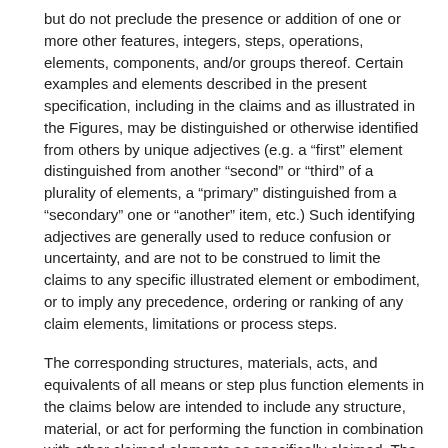but do not preclude the presence or addition of one or more other features, integers, steps, operations, elements, components, and/or groups thereof. Certain examples and elements described in the present specification, including in the claims and as illustrated in the Figures, may be distinguished or otherwise identified from others by unique adjectives (e.g. a “first” element distinguished from another “second” or “third” of a plurality of elements, a “primary” distinguished from a “secondary” one or “another” item, etc.) Such identifying adjectives are generally used to reduce confusion or uncertainty, and are not to be construed to limit the claims to any specific illustrated element or embodiment, or to imply any precedence, ordering or ranking of any claim elements, limitations or process steps.
The corresponding structures, materials, acts, and equivalents of all means or step plus function elements in the claims below are intended to include any structure, material, or act for performing the function in combination with other claimed elements as specifically claimed. The description of the present invention has been presented for purposes of illustration and description, but is not